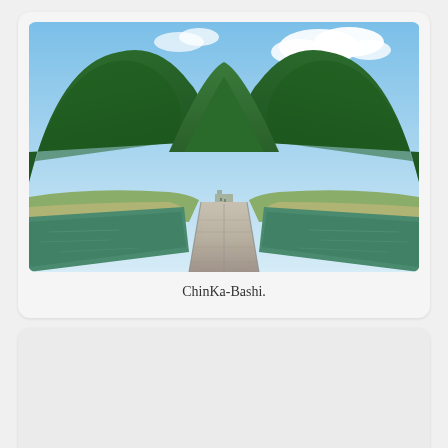[Figure (photo): Aerial/elevated view of ChinKa-Bashi, a long concrete bridge/causeway stretching across a wide green river toward a valley surrounded by lush green forested mountains under a blue sky with white clouds.]
ChinKa-Bashi.